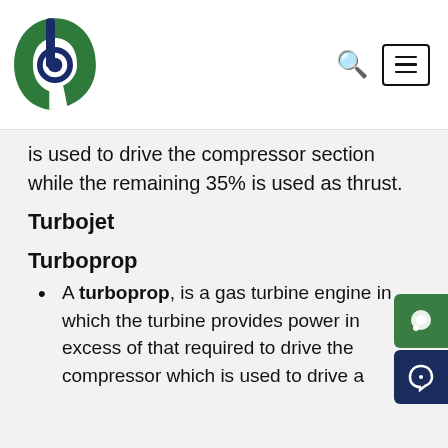Logo and navigation header
is used to drive the compressor section while the remaining 35% is used as thrust.
Turbojet
Turboprop
A turboprop, is a gas turbine engine in which the turbine provides power in excess of that required to drive the compressor which is used to drive a